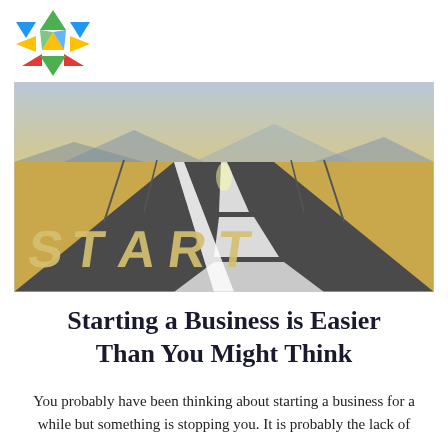[Figure (logo): Colorful geometric logo made of triangles in green, blue, yellow, and red arranged in a pinwheel/asterisk pattern]
[Figure (photo): A long straight road stretching to the horizon with the word START painted in large letters on the road surface. Golden fields on either side, mountains in the background.]
Starting a Business is Easier Than You Might Think
You probably have been thinking about starting a business for a while but something is stopping you. It is probably the lack of